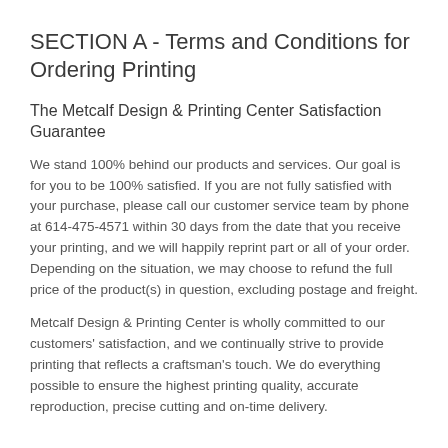SECTION A - Terms and Conditions for Ordering Printing
The Metcalf Design & Printing Center Satisfaction Guarantee
We stand 100% behind our products and services. Our goal is for you to be 100% satisfied. If you are not fully satisfied with your purchase, please call our customer service team by phone at 614-475-4571 within 30 days from the date that you receive your printing, and we will happily reprint part or all of your order. Depending on the situation, we may choose to refund the full price of the product(s) in question, excluding postage and freight.
Metcalf Design & Printing Center is wholly committed to our customers' satisfaction, and we continually strive to provide printing that reflects a craftsman's touch. We do everything possible to ensure the highest printing quality, accurate reproduction, precise cutting and on-time delivery.